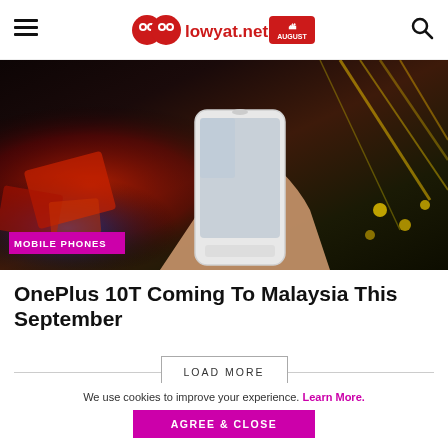lowyat.net — AUGUST
[Figure (photo): Person holding a white smartphone (OnePlus 10T) at an event with colorful red and yellow stage lighting in the background. A purple 'MOBILE PHONES' tag is overlaid on the bottom left of the image.]
OnePlus 10T Coming To Malaysia This September
LOAD MORE
We use cookies to improve your experience. Learn More.
AGREE & CLOSE